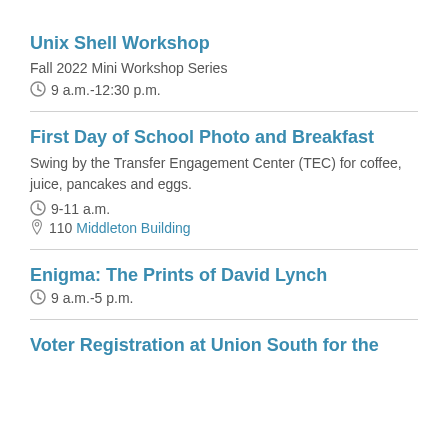Unix Shell Workshop
Fall 2022 Mini Workshop Series
9 a.m.-12:30 p.m.
First Day of School Photo and Breakfast
Swing by the Transfer Engagement Center (TEC) for coffee, juice, pancakes and eggs.
9-11 a.m.
110 Middleton Building
Enigma: The Prints of David Lynch
9 a.m.-5 p.m.
Voter Registration at Union South for the